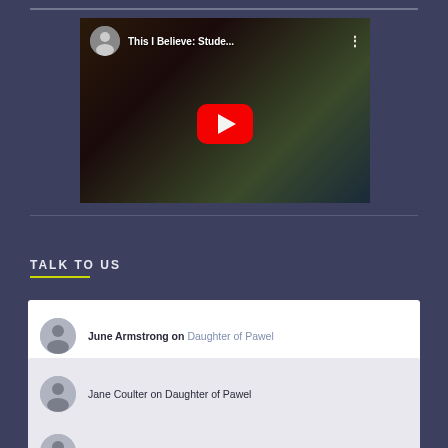[Figure (screenshot): YouTube video thumbnail with title 'This I Believe: Stude...' and red play button]
TALK TO US
June Armstrong on Daughter of Pawel
Jane Coulter on Daughter of Pawel
(partial third comment)